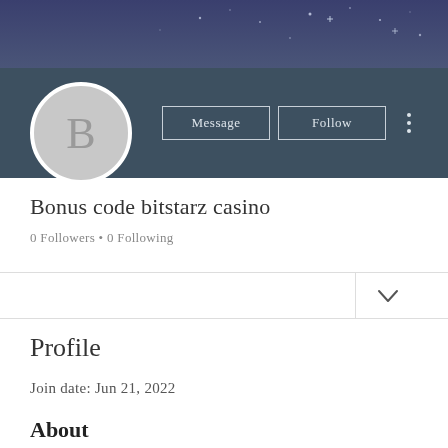[Figure (screenshot): Profile page header banner with dark blue/purple starry night background]
[Figure (illustration): Circular avatar placeholder with letter B in gray]
Message
Follow
Bonus code bitstarz casino
0 Followers • 0 Following
Profile
Join date: Jun 21, 2022
About